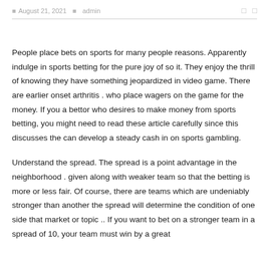August 21, 2021   admin
People place bets on sports for many people reasons. Apparently indulge in sports betting for the pure joy of so it. They enjoy the thrill of knowing they have something jeopardized in video game. There are earlier onset arthritis . who place wagers on the game for the money. If you a bettor who desires to make money from sports betting, you might need to read these article carefully since this discusses the can develop a steady cash in on sports gambling.
Understand the spread. The spread is a point advantage in the neighborhood . given along with weaker team so that the betting is more or less fair. Of course, there are teams which are undeniably stronger than another the spread will determine the condition of one side that market or topic .. If you want to bet on a stronger team in a spread of 10, your team must win by a great